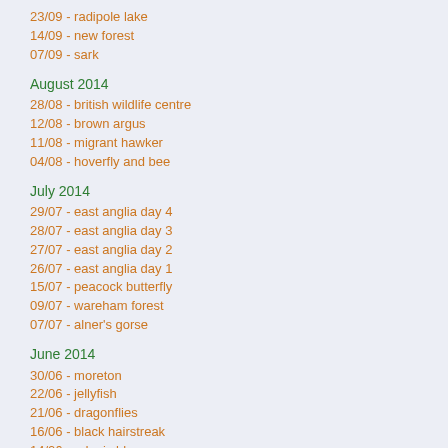23/09 - radipole lake
14/09 - new forest
07/09 - sark
August 2014
28/08 - british wildlife centre
12/08 - brown argus
11/08 - migrant hawker
04/08 - hoverfly and bee
July 2014
29/07 - east anglia day 4
28/07 - east anglia day 3
27/07 - east anglia day 2
26/07 - east anglia day 1
15/07 - peacock butterfly
09/07 - wareham forest
07/07 - alner's gorse
June 2014
30/06 - moreton
22/06 - jellyfish
21/06 - dragonflies
16/06 - black hairstreak
14/06 - adonis blue
09/06 - marsh fritillaries
May 2014
27/05 - charmouth
26/05 - terns
24/05 - roe deer
20/05 - fox